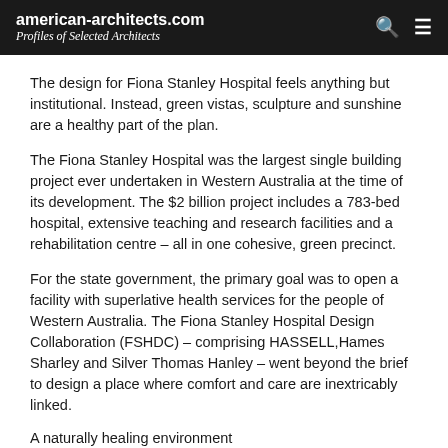american-architects.com Profiles of Selected Architects
The design for Fiona Stanley Hospital feels anything but institutional. Instead, green vistas, sculpture and sunshine are a healthy part of the plan.
The Fiona Stanley Hospital was the largest single building project ever undertaken in Western Australia at the time of its development. The $2 billion project includes a 783-bed hospital, extensive teaching and research facilities and a rehabilitation centre – all in one cohesive, green precinct.
For the state government, the primary goal was to open a facility with superlative health services for the people of Western Australia. The Fiona Stanley Hospital Design Collaboration (FSHDC) – comprising HASSELL,Hames Sharley and Silver Thomas Hanley – went beyond the brief to design a place where comfort and care are inextricably linked.
A naturally healing environment